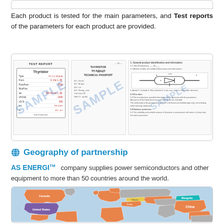Each product is tested for the main parameters, and Test reports of the parameters for each product are provided.
[Figure (other): Sample test report document pages showing thyristor test report, technical passport, and detailed specifications with SAMPLE watermark overlay]
Geography of partnership
AS ENERGI™  company supplies power semiconductors and other equipment to more than 50 countries around the world.
[Figure (map): World map showing partnership geography with highlighted countries including Canada, United States, European countries, China, Mongolia and others colored in orange, purple, teal, and yellow]